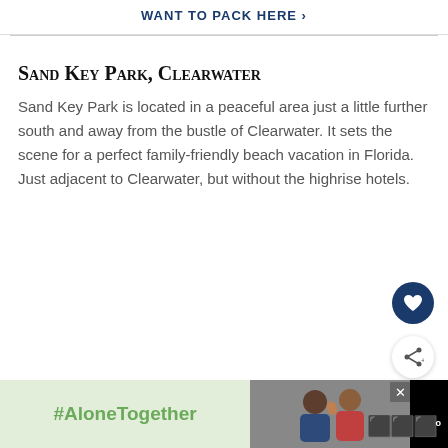WANT TO PACK HERE ›
Sand Key Park, Clearwater
Sand Key Park is located in a peaceful area just a little further south and away from the bustle of Clearwater. It sets the scene for a perfect family-friendly beach vacation in Florida. Just adjacent to Clearwater, but without the highrise hotels.
[Figure (photo): Aerial/landscape photo of Phoenix, Arizona cityscape with mountains in background]
LIKE THIS? WHY NOT TRY
Explore and Discover the... Phoenix, Arizona
[Figure (photo): Small thumbnail of coastal/beach scene for 26 Incredible US East Coa...]
WHAT'S NEXT → 26 Incredible US East Coa...
#AloneTogether